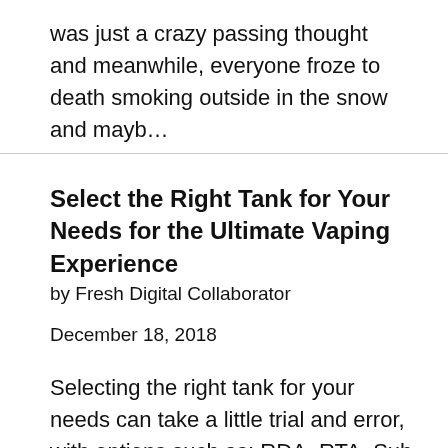was just a crazy passing thought and meanwhile, everyone froze to death smoking outside in the snow and mayb…
Select the Right Tank for Your Needs for the Ultimate Vaping Experience
by Fresh Digital Collaborator
December 18, 2018
Selecting the right tank for your needs can take a little trial and error, with options such as; RDA, RTA, Sub ohm and coils – how do you know wher…